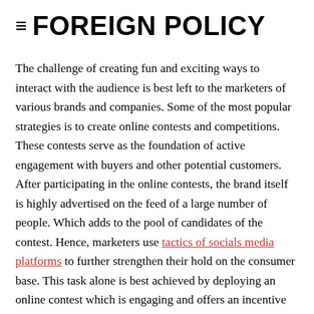≡ FOREIGN POLICY
The challenge of creating fun and exciting ways to interact with the audience is best left to the marketers of various brands and companies. Some of the most popular strategies is to create online contests and competitions. These contests serve as the foundation of active engagement with buyers and other potential customers. After participating in the online contests, the brand itself is highly advertised on the feed of a large number of people. Which adds to the pool of candidates of the contest. Hence, marketers use tactics of socials media platforms to further strengthen their hold on the consumer base. This task alone is best achieved by deploying an online contest which is engaging and offers an incentive for people to participate in. As the nature of the contest itself depicts, the incentive is received in the form of